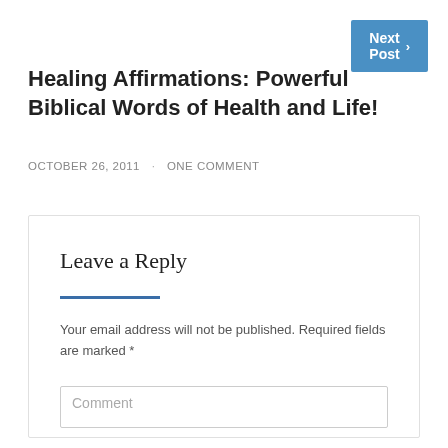Next Post >
Healing Affirmations: Powerful Biblical Words of Health and Life!
OCTOBER 26, 2011 · ONE COMMENT
Leave a Reply
Your email address will not be published. Required fields are marked *